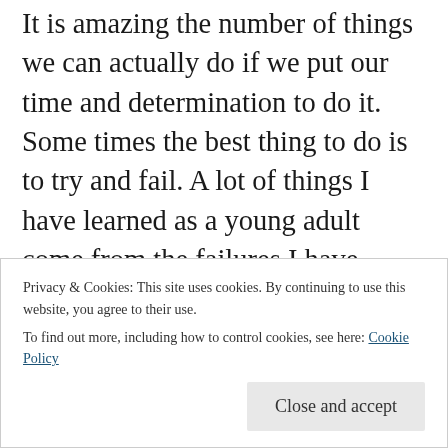It is amazing the number of things we can actually do if we put our time and determination to do it. Some times the best thing to do is to try and fail. A lot of things I have learned as a young adult come from the failures I have acquired over the years. My favorite part on this post is “keep yourself busy with interesting things”. A lot of times the things we find interesting are actually the things we should not be focusing on. interesting to me simply means things that are fruitful for your growth. We might find things like watching Netflix or watching tiktok videos or hanging out with friends to be interesting,
Privacy & Cookies: This site uses cookies. By continuing to use this website, you agree to their use.
To find out more, including how to control cookies, see here: Cookie Policy
Close and accept
** liked by 1person